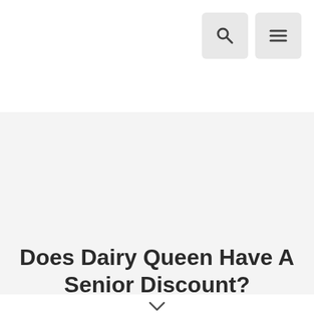Does Dairy Queen Have A Senior Discount?